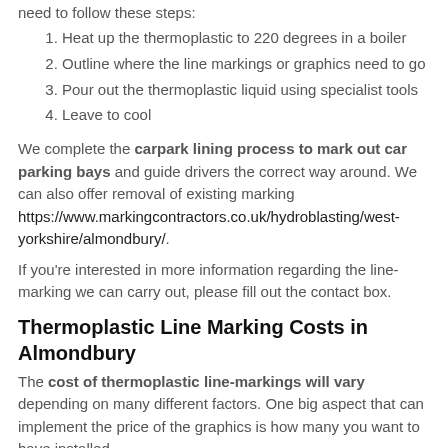need to follow these steps:
Heat up the thermoplastic to 220 degrees in a boiler
Outline where the line markings or graphics need to go
Pour out the thermoplastic liquid using specialist tools
Leave to cool
We complete the carpark lining process to mark out car parking bays and guide drivers the correct way around. We can also offer removal of existing marking https://www.markingcontractors.co.uk/hydroblasting/west-yorkshire/almondbury/.
If you're interested in more information regarding the line-marking we can carry out, please fill out the contact box.
Thermoplastic Line Marking Costs in Almondbury
The cost of thermoplastic line-markings will vary depending on many different factors. One big aspect that can implement the price of the graphics is how many you want to have installed.
Obviously if you are looking to line-mark a big carpark with lots of